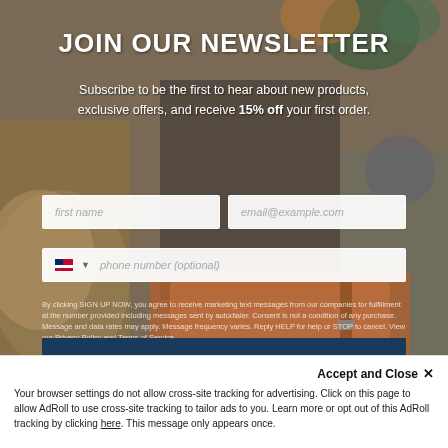[Figure (photo): Background photo of a room with leather bags, furniture with drawers, plants, and fluffy textiles in warm tones]
JOIN OUR NEWSLETTER
Subscribe to be the first to hear about new products, exclusive offers, and receive 15% off your first order.
first name | email@example.com
phone number (optional)
By clicking SIGN UP NOW, you agree to receive marketing text messages from our companies for fulfillment at the number provided including messages sent by autodialer. Consent is not a condition of any purchase. Message and data rates may apply. Message frequency varies. Reply HELP for help or STOP to cancel. View our Privacy Policy and Terms of Service
JOIN NOW
Accept and Close ✕
Your browser settings do not allow cross-site tracking for advertising. Click on this page to allow AdRoll to use cross-site tracking to tailor ads to you. Learn more or opt out of this AdRoll tracking by clicking here. This message only appears once.